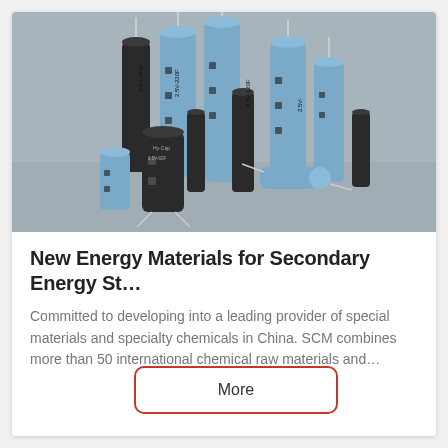[Figure (photo): Multiple blue and black cylindrical electrolytic capacitors of various sizes arranged on a gray surface, with metal leads visible. Capacitors are labeled with values such as 2.5V-220F, 2.5V-120F, 2.5V-60F, etc.]
New Energy Materials for Secondary Energy St...
Committed to developing into a leading provider of special materials and specialty chemicals in China. SCM combines more than 50 international chemical raw materials and...
More